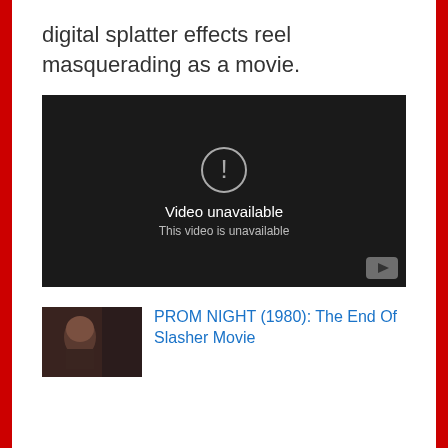digital splatter effects reel masquerading as a movie.
[Figure (screenshot): Embedded video player showing 'Video unavailable' message with exclamation icon and text 'This video is unavailable'. YouTube logo button in lower right corner.]
[Figure (photo): Thumbnail image showing a person's face, dark toned, for PROM NIGHT (1980) article]
PROM NIGHT (1980): The End Of Slasher Movie